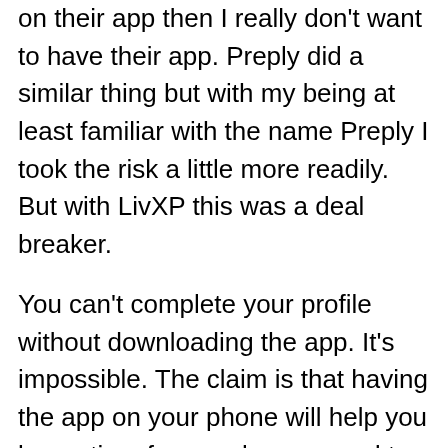on their app then I really don't want to have their app. Preply did a similar thing but with my being at least familiar with the name Preply I took the risk a little more readily. But with LivXP this was a deal breaker.
You can't complete your profile without downloading the app. It's impossible. The claim is that having the app on your phone will help you be on time for your lessons and to respond faster to incoming requests. I don't know about you but 1) I reply as soon as I can anyway (I get notified through email notifications and don't need an app, 2) I choose to have a life and